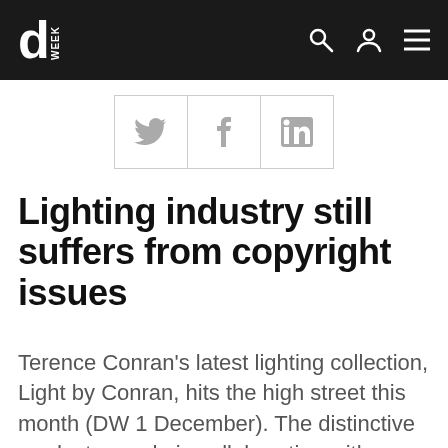designweek
[Figure (other): Social sharing buttons for Twitter, Facebook, and LinkedIn arranged in a horizontal row with bordered cells]
Lighting industry still suffers from copyright issues
Terence Conran's latest lighting collection, Light by Conran, hits the high street this month (DW 1 December). The distinctive products, made in collaboration with Home Ren and